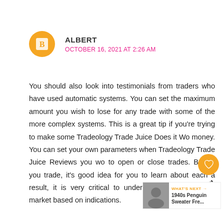ALBERT
OCTOBER 16, 2021 AT 2:26 AM
You should also look into testimonials from traders who have used automatic systems. You can set the maximum amount you wish to lose for any trade with some of the more complex systems. This is a great tip if you're trying to make some Tradeology Trade Juice Does it Wo… money. You can set your own parameters … when Tradeology Trade Juice Reviews you wo… to open or close trades. Before you trade, it's… good idea for you to learn about each… a result, it is very critical to understan… act in the forex market based on indications.